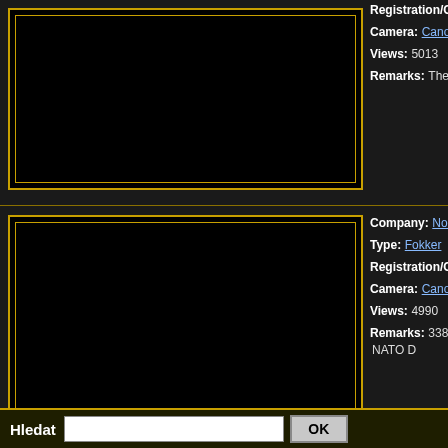[Figure (photo): Black photo thumbnail with gold border, top row]
Registration/CN: 692/6L-
Camera: Canon
Views: 5013
Remarks: The "Ar
[Figure (photo): Black photo thumbnail with gold border, bottom row]
Company: Norway
Type: Fokker
Registration/CN: 664/6K-
Camera: Canon
Views: 4990
Remarks: 338 Sk NATO D
Pages: << >> 1 ( 9 photos found)
Copyright
Hledat
OK